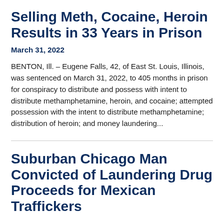Selling Meth, Cocaine, Heroin Results in 33 Years in Prison
March 31, 2022
BENTON, Ill. – Eugene Falls, 42, of East St. Louis, Illinois, was sentenced on March 31, 2022, to 405 months in prison for conspiracy to distribute and possess with intent to distribute methamphetamine, heroin, and cocaine; attempted possession with the intent to distribute methamphetamine; distribution of heroin; and money laundering...
Suburban Chicago Man Convicted of Laundering Drug Proceeds for Mexican Traffickers